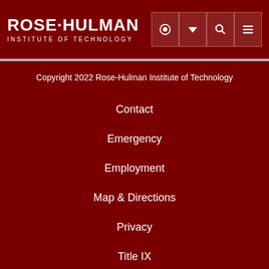ROSE-HULMAN INSTITUTE OF TECHNOLOGY
Copyright 2022 Rose-Hulman Institute of Technology
Contact
Emergency
Employment
Map & Directions
Privacy
Title IX
Accessibility